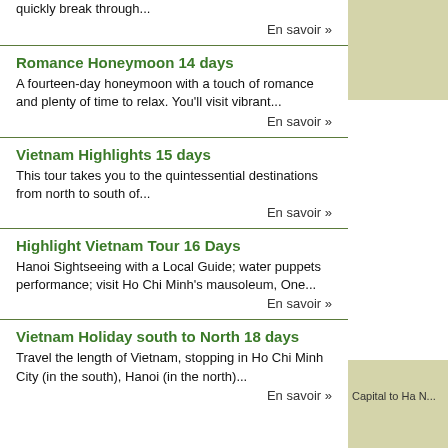quickly break through...
En savoir »
Romance Honeymoon 14 days
A fourteen-day honeymoon with a touch of romance and plenty of time to relax. You'll visit vibrant...
En savoir »
Vietnam Highlights 15 days
This tour takes you to the quintessential destinations from north to south of...
En savoir »
Highlight Vietnam Tour 16 Days
Hanoi Sightseeing with a Local Guide; water puppets performance; visit Ho Chi Minh's mausoleum, One...
En savoir »
Vietnam Holiday south to North 18 days
Travel the length of Vietnam, stopping in Ho Chi Minh City (in the south), Hanoi (in the north)...
En savoir »
Capital to Ha N...